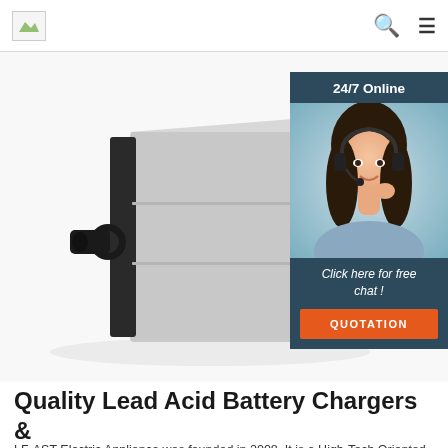[logo] [search icon] [menu icon]
[Figure (photo): A silver rectangular battery charger device with black cable connector on the left side, shown at an angle on a white background. A customer service chat widget overlay appears on the right with '24/7 Online' header, a smiling female agent with headset, 'Click here for free chat!' text, and an orange QUOTATION button.]
Quality Lead Acid Battery Chargers & Lithium Ion Battery ...
LF-AST Electric Appliance was founded in 2008. It is a High-Tech Oriented enterprise,we are specialized in manufacturing lithium/Lead acid battery chargers,electric car chargers,electric